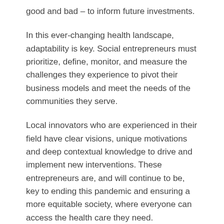good and bad – to inform future investments.
In this ever-changing health landscape, adaptability is key. Social entrepreneurs must prioritize, define, monitor, and measure the challenges they experience to pivot their business models and meet the needs of the communities they serve.
Local innovators who are experienced in their field have clear visions, unique motivations and deep contextual knowledge to drive and implement new interventions. These entrepreneurs are, and will continue to be, key to ending this pandemic and ensuring a more equitable society, where everyone can access the health care they need.
To learn more about the most recent cohort of GHIG